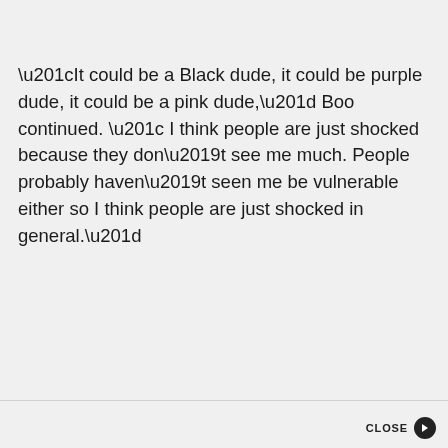“It could be a Black dude, it could be purple dude, it could be a pink dude,” Boo continued. “ I think people are just shocked because they don’t see me much. People probably haven’t seen me be vulnerable either so I think people are just shocked in general.”
CLOSE